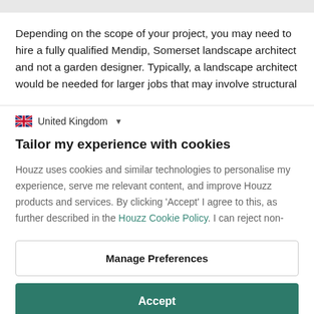Depending on the scope of your project, you may need to hire a fully qualified Mendip, Somerset landscape architect and not a garden designer. Typically, a landscape architect would be needed for larger jobs that may involve structural
🇬🇧 United Kingdom ▾
Tailor my experience with cookies
Houzz uses cookies and similar technologies to personalise my experience, serve me relevant content, and improve Houzz products and services. By clicking 'Accept' I agree to this, as further described in the Houzz Cookie Policy. I can reject non-
Manage Preferences
Accept